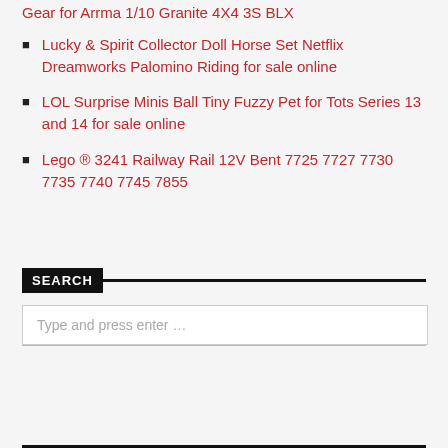Gear for Arrma 1/10 Granite 4X4 3S BLX
Lucky & Spirit Collector Doll Horse Set Netflix Dreamworks Palomino Riding for sale online
LOL Surprise Minis Ball Tiny Fuzzy Pet for Tots Series 13 and 14 for sale online
Lego ® 3241 Railway Rail 12V Bent 7725 7727 7730 7735 7740 7745 7855
SEARCH
Type and press enter …